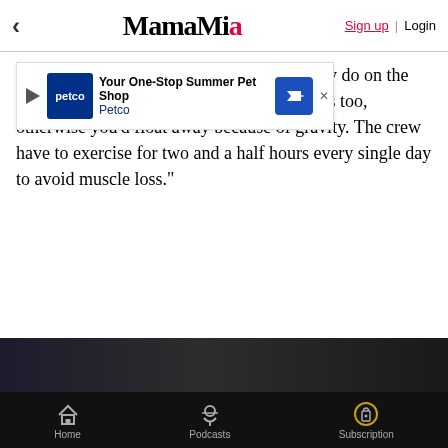< MamaMia Sign up | Login
"The exercise stuff and movements that they do on the treadmill, they had to show exactly how it is too, otherwise you'd float away because of gravity. The crew have to exercise for two and a half hours every single day to avoid muscle loss."
[Figure (other): Petco advertisement banner: 'Your One-Stop Summer Pet Shop' with Petco logo and navigation arrow icon]
The ISS itself was also pretty accurate, save for its size which was augmented. "They had a lot of extra budget!" she jokes.
Aware that die-hard fans will immediately notice any inconsistencies, most films now will bring space experts on set to consult to ensure they get things as accurate as they can.
[Figure (photo): Dark cinematic still from a film, partially visible at the bottom of the page]
Home | Podcasts | Subscription